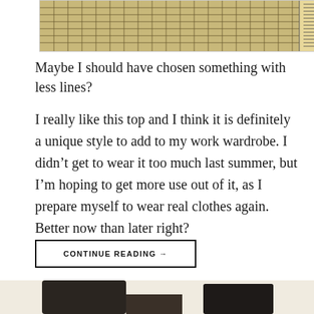[Figure (photo): Top portion of a photo showing a gridded/lined fabric or paper on a cutting mat with ruler markings]
Maybe I should have chosen something with less lines?
I really like this top and I think it is definitely a unique style to add to my work wardrobe. I didn't get to wear it too much last summer, but I'm hoping to get more use out of it, as I prepare myself to wear real clothes again. Better now than later right?
CONTINUE READING →
[Figure (photo): Bottom portion of a photo showing what appears to be clothing items or chairs, partially visible]